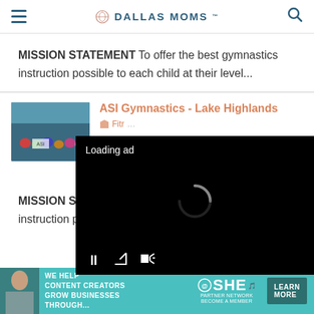DALLAS MOMS
MISSION STATEMENT To offer the best gymnastics instruction possible to each child at their level...
ASI Gymnastics - Lake Highlands
Fitr...
118...
(97...
htt...
[Figure (photo): Group photo of children at gymnastics gym]
[Figure (screenshot): Video player overlay showing 'Loading ad' with spinner and playback controls]
MISSION STATEMENT To offer the best gymnastics instruction possible to each
[Figure (advertisement): SHE Media Partner Network ad banner: 'We help content creators grow businesses through... Learn More']